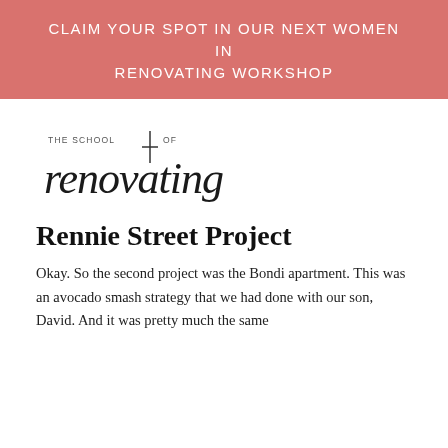CLAIM YOUR SPOT IN OUR NEXT WOMEN IN RENOVATING WORKSHOP
[Figure (logo): The School of Renovating logo — script style text with a cross/plus mark between 'SCHOOL' and 'OF', with 'renovating' in large cursive below]
Rennie Street Project
Okay. So the second project was the Bondi apartment. This was an avocado smash strategy that we had done with our son, David. And it was pretty much the same